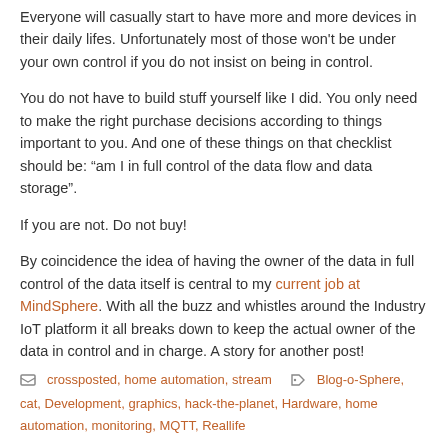Everyone will casually start to have more and more devices in their daily lifes. Unfortunately most of those won't be under your own control if you do not insist on being in control.
You do not have to build stuff yourself like I did. You only need to make the right purchase decisions according to things important to you. And one of these things on that checklist should be: “am I in full control of the data flow and data storage”.
If you are not. Do not buy!
By coincidence the idea of having the owner of the data in full control of the data itself is central to my current job at MindSphere. With all the buzz and whistles around the Industry IoT platform it all breaks down to keep the actual owner of the data in control and in charge. A story for another post!
crossposted, home automation, stream  Blog-o-Sphere, cat, Development, graphics, hack-the-planet, Hardware, home automation, monitoring, MQTT, Reallife